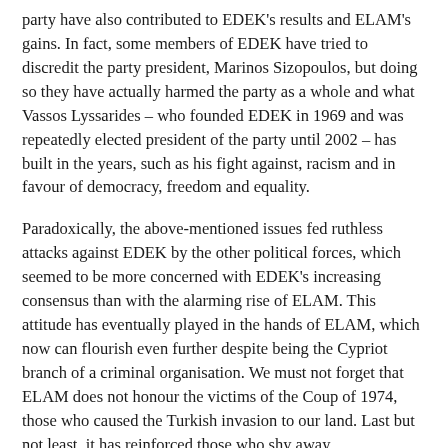party have also contributed to EDEK's results and ELAM's gains. In fact, some members of EDEK have tried to discredit the party president, Marinos Sizopoulos, but doing so they have actually harmed the party as a whole and what Vassos Lyssarides – who founded EDEK in 1969 and was repeatedly elected president of the party until 2002 – has built in the years, such as his fight against, racism and in favour of democracy, freedom and equality.
Paradoxically, the above-mentioned issues fed ruthless attacks against EDEK by the other political forces, which seemed to be more concerned with EDEK's increasing consensus than with the alarming rise of ELAM. This attitude has eventually played in the hands of ELAM, which now can flourish even further despite being the Cypriot branch of a criminal organisation. We must not forget that ELAM does not honour the victims of the Coup of 1974, those who caused the Turkish invasion to our land. Last but not least, it has reinforced those who shy away